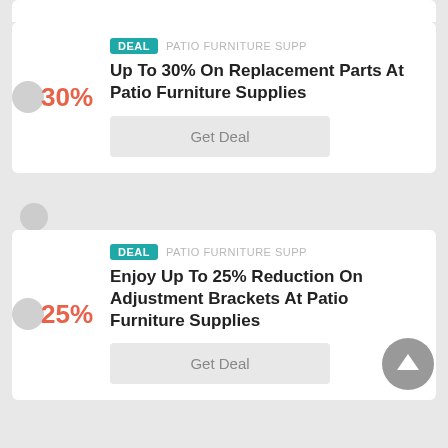30%
DEAL  PATIO FURNITURE SUPP
Up To 30% On Replacement Parts At Patio Furniture Supplies
Get Deal
25%
DEAL  PATIO FURNITURE SUPP
Enjoy Up To 25% Reduction On Adjustment Brackets At Patio Furniture Supplies
Get Deal